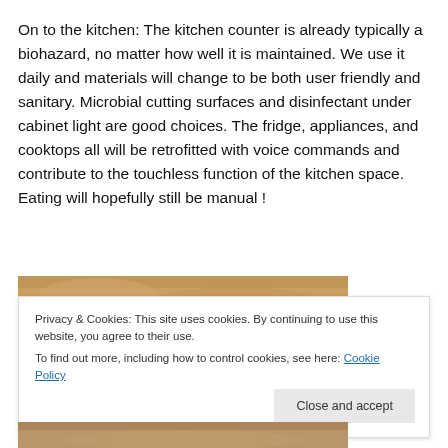On to the kitchen: The kitchen counter is already typically a biohazard, no matter how well it is maintained. We use it daily and materials will change to be both user friendly and sanitary. Microbial cutting surfaces and disinfectant under cabinet light are good choices. The fridge, appliances, and cooktops all will be retrofitted with voice commands and contribute to the touchless function of the kitchen space. Eating will hopefully still be manual !
[Figure (photo): Partial view of a kitchen or food-related photo strip at top of image area]
Privacy & Cookies: This site uses cookies. By continuing to use this website, you agree to their use.
To find out more, including how to control cookies, see here: Cookie Policy
[Figure (photo): Partial view of a kitchen or food-related photo strip at bottom of image area]